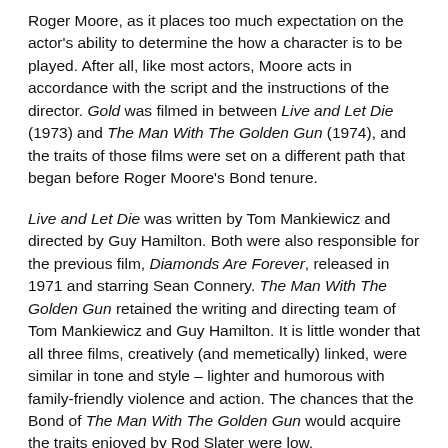Roger Moore, as it places too much expectation on the actor's ability to determine the how a character is to be played. After all, like most actors, Moore acts in accordance with the script and the instructions of the director. Gold was filmed in between Live and Let Die (1973) and The Man With The Golden Gun (1974), and the traits of those films were set on a different path that began before Roger Moore's Bond tenure.
Live and Let Die was written by Tom Mankiewicz and directed by Guy Hamilton. Both were also responsible for the previous film, Diamonds Are Forever, released in 1971 and starring Sean Connery. The Man With The Golden Gun retained the writing and directing team of Tom Mankiewicz and Guy Hamilton. It is little wonder that all three films, creatively (and memetically) linked, were similar in tone and style – lighter and humorous with family-friendly violence and action. The chances that the Bond of The Man With The Golden Gun would acquire the traits enjoyed by Rod Slater were low.
That said, Roger Moore writes in his autobiography that Guy